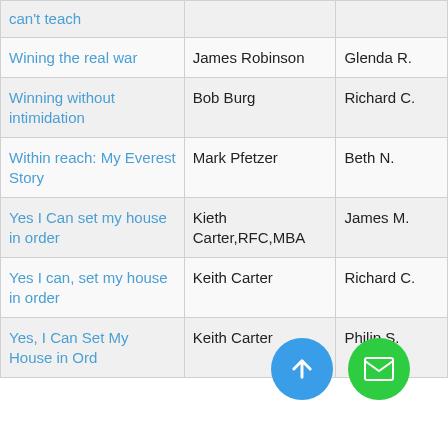| can't teach |  |  |
| Wining the real war | James Robinson | Glenda R. |
| Winning without intimidation | Bob Burg | Richard C. |
| Within reach: My Everest Story | Mark Pfetzer | Beth N. |
| Yes I Can set my house in order | Kieth Carter,RFC,MBA | James M. |
| Yes I can, set my house in order | Keith Carter | Richard C. |
| Yes, I Can Set My House in Order | Keith Carter | Philip S. |